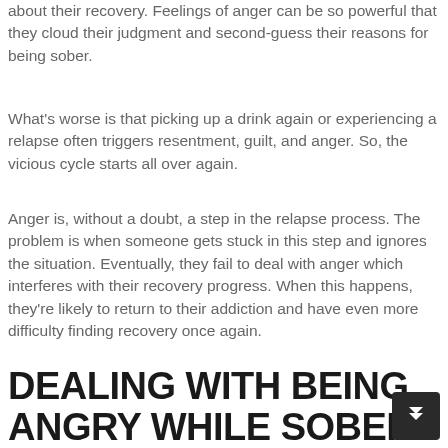about their recovery. Feelings of anger can be so powerful that they cloud their judgment and second-guess their reasons for being sober.
What's worse is that picking up a drink again or experiencing a relapse often triggers resentment, guilt, and anger. So, the vicious cycle starts all over again.
Anger is, without a doubt, a step in the relapse process. The problem is when someone gets stuck in this step and ignores the situation. Eventually, they fail to deal with anger which interferes with their recovery progress. When this happens, they're likely to return to their addiction and have even more difficulty finding recovery once again.
DEALING WITH BEING ANGRY WHILE SOBER